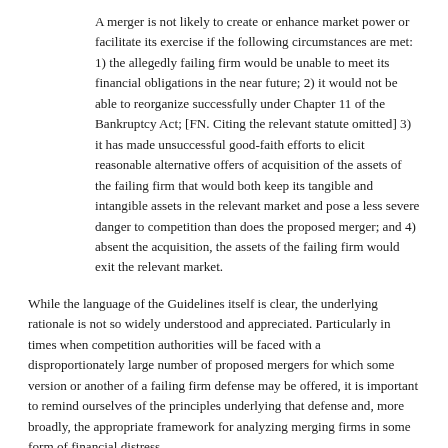A merger is not likely to create or enhance market power or facilitate its exercise if the following circumstances are met: 1) the allegedly failing firm would be unable to meet its financial obligations in the near future; 2) it would not be able to reorganize successfully under Chapter 11 of the Bankruptcy Act; [FN. Citing the relevant statute omitted] 3) it has made unsuccessful good-faith efforts to elicit reasonable alternative offers of acquisition of the assets of the failing firm that would both keep its tangible and intangible assets in the relevant market and pose a less severe danger to competition than does the proposed merger; and 4) absent the acquisition, the assets of the failing firm would exit the relevant market.
While the language of the Guidelines itself is clear, the underlying rationale is not so widely understood and appreciated. Particularly in times when competition authorities will be faced with a disproportionately large number of proposed mergers for which some version or another of a failing firm defense may be offered, it is important to remind ourselves of the principles underlying that defense and, more broadly, the appropriate framework for analyzing merging firms in some form of financial distress.
A question also arises, or undoubtedly will arise shortly, as to whether the unusually weak state our economy's health is passing through means that merger analysis should employ a somewhat weaker, more forgiving, set of requirements for mergers proposed by firms in some significant financial